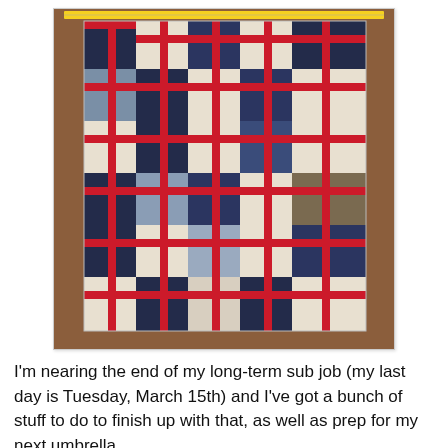[Figure (photo): A quilt laid out flat (or hanging on a wall), featuring a pattern of navy blue, cream/beige, and red cross/plus-sign blocks in a grid arrangement. The quilt has a repeating geometric design with red sashing strips forming plus/cross shapes over alternating blue and cream fabric squares.]
I'm nearing the end of my long-term sub job (my last day is Tuesday, March 15th) and I've got a bunch of stuff to do to finish up with that, as well as prep for my next umbrella